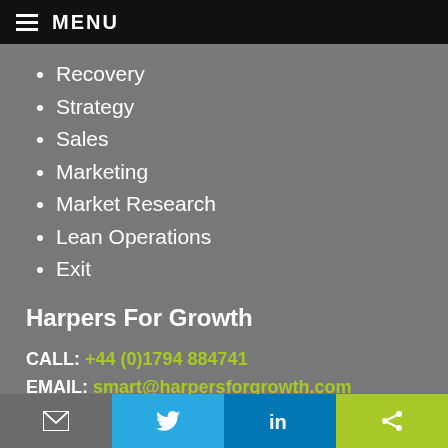MENU
Recovery
Strategy
Sales
Marketing
Market Research
Lean Operations
Exit
Harpers For Growth
CALL: +44 (0)1794 884741
EMAIL: smart@harpersforgrowth.com
© 2020 Harpers for Growth Limited - All Rights Reserved.
Site Design - lukes.co.uk